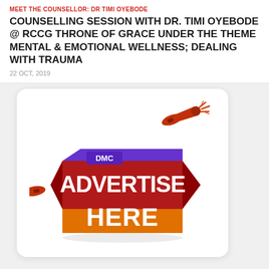MEET THE COUNSELLOR: DR TIMI OYEBODE
COUNSELLING SESSION WITH DR. TIMI OYEBODE @ RCCG THRONE OF GRACE UNDER THE THEME MENTAL & EMOTIONAL WELLNESS; DEALING WITH TRAUMA
22 OCT, 2019
[Figure (illustration): DMC Advertise Here promotional banner with megaphone graphics on a ribbon-style red and purple background]